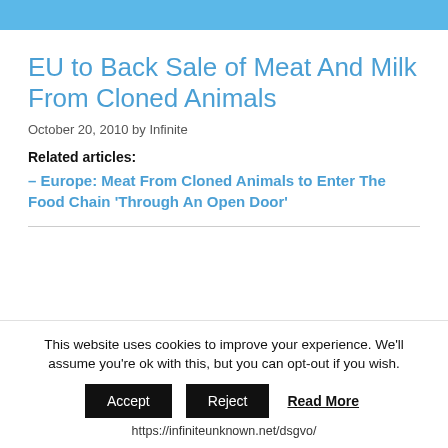EU to Back Sale of Meat And Milk From Cloned Animals
October 20, 2010 by Infinite
Related articles:
– Europe: Meat From Cloned Animals to Enter The Food Chain ‘Through An Open Door’
This website uses cookies to improve your experience. We'll assume you're ok with this, but you can opt-out if you wish.
Accept   Reject   Read More
https://infiniteunknown.net/dsgvo/